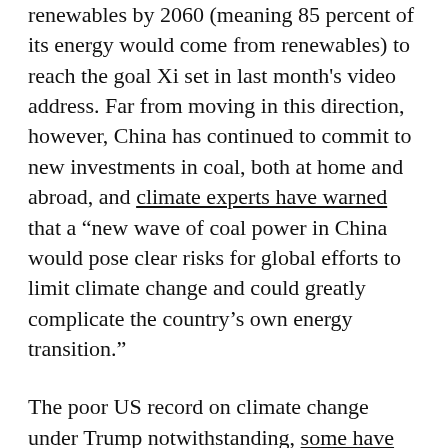renewables by 2060 (meaning 85 percent of its energy would come from renewables) to reach the goal Xi set in last month's video address. Far from moving in this direction, however, China has continued to commit to new investments in coal, both at home and abroad, and climate experts have warned that a “new wave of coal power in China would pose clear risks for global efforts to limit climate change and could greatly complicate the country’s own energy transition.”
The poor US record on climate change under Trump notwithstanding, some have argued that China’s performance on the environment globally offers the US an opportunity to weaken Xi Jinping’s standing on a key issue internationally. “A more enlightened U.S. strategy could turn China’s environmental destruction – now being exported globally – to its